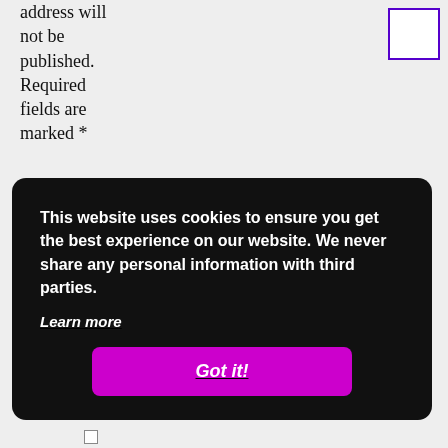address will not be published. Required fields are marked *
[Figure (other): Hamburger menu icon button with three horizontal bars inside a purple-bordered square]
Comment
[Figure (other): Empty white comment text area input field]
This website uses cookies to ensure you get the best experience on our website. We never share any personal information with third parties. Learn more
Got it!